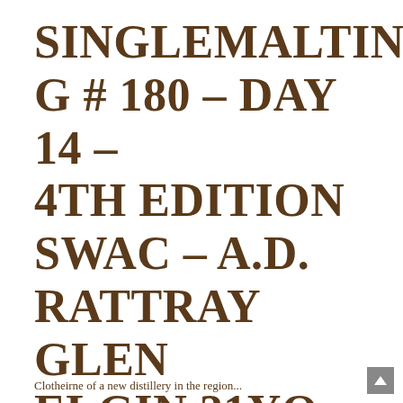SINGLEMALTING # 180 – DAY 14 – 4TH EDITION SWAC – A.D. RATTRAY GLEN ELGIN 21YO SINGLE MALT
Clotheirne of a new distillery in the region...